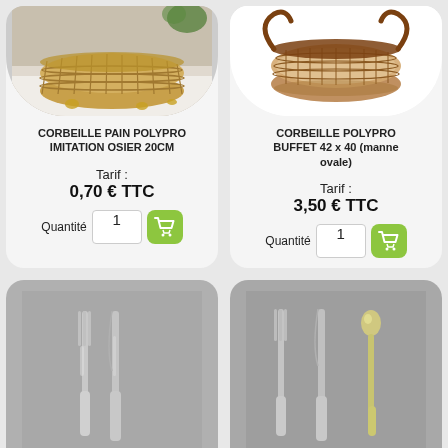[Figure (photo): Wicker bread basket (corbeille pain polypro imitation osier 20cm) on a white table with gold decorations]
CORBEILLE PAIN POLYPRO IMITATION OSIER 20CM
Tarif : 0,70 € TTC
Quantité 1
[Figure (photo): Round wicker buffet basket with handles (corbeille polypro buffet 42x40 manne ovale) on white background]
CORBEILLE POLYPRO BUFFET 42 x 40 (manne ovale)
Tarif : 3,50 € TTC
Quantité 1
[Figure (photo): Silver fork and knife cutlery on gray background]
[Figure (photo): Silver fork, knife and spoon cutlery on gray background]